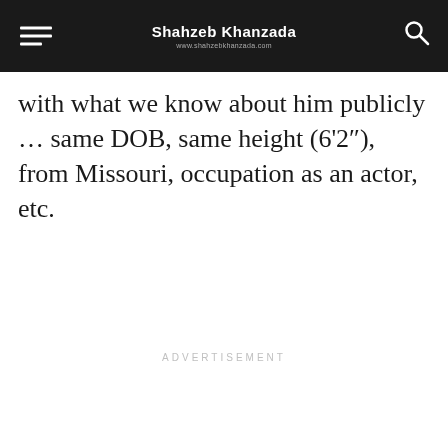Shahzeb Khanzada www.shahzebkhanzada.com
with what we know about him publicly … same DOB, same height (6'2"), from Missouri, occupation as an actor, etc.
ADVERTISEMENT